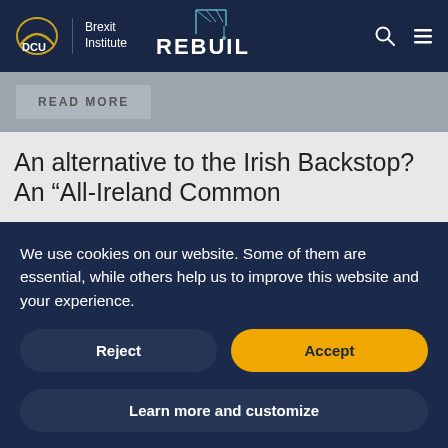[Figure (logo): DCU Brexit Institute logo with REBUILD crane graphic, search and menu icons in dark navy header]
READ MORE
An alternative to the Irish Backstop? An "All-Ireland Common
We use cookies on our website. Some of them are essential, while others help us to improve this website and your experience.
Reject
Accept
Learn more and customize